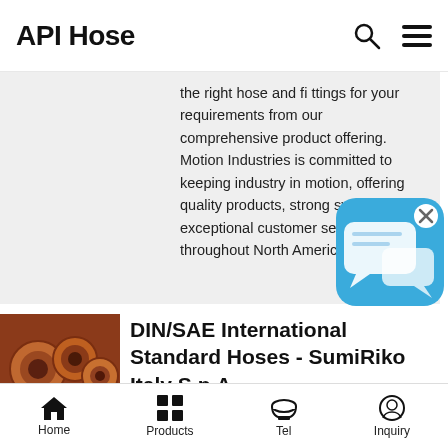API Hose
the right hose and fittings for your requirements from our comprehensive product offering. Motion Industries is committed to keeping industry in motion, offering quality products, strong systems and exceptional customer service support throughout North America. Can …
[Figure (screenshot): Blue chat bubble app icon with white speech bubbles and X close button]
[Figure (photo): Close-up photo of copper/orange industrial hoses bundled together]
DIN/SAE International Standard Hoses - SumiRiko Italy S.p.A.
Our global hose widely used on hydraulic equipments such as machines of construction, mining,
Home  Products  Tel  Inquiry